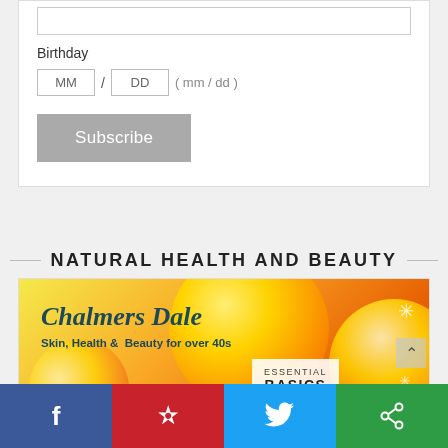Birthday
MM / DD ( mm / dd )
Subscribe
NATURAL HEALTH AND BEAUTY
[Figure (illustration): Chalmers Dale brand banner showing orange slices in background with text: Chalmers Dale, Skin, Health & Beauty for over 40s, and an Essential Basics badge]
Facebook | Pinterest | Twitter | Share